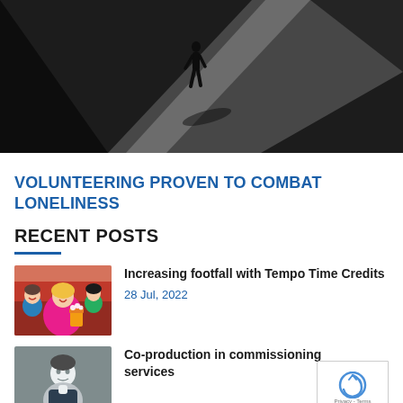[Figure (photo): Black and white photo of a lone silhouetted figure walking on a diagonal beam of light against a dark background, casting a shadow.]
VOLUNTEERING PROVEN TO COMBAT LONELINESS
RECENT POSTS
[Figure (photo): Thumbnail image of people at a cinema, a woman in pink eating popcorn, children in background.]
Increasing footfall with Tempo Time Credits
28 Jul, 2022
[Figure (photo): Thumbnail image of a person, partially visible, related to co-production article.]
Co-production in commissioning services